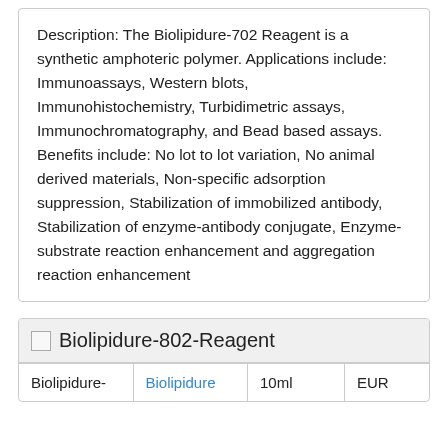Description: The Biolipidure-702 Reagent is a synthetic amphoteric polymer. Applications include: Immunoassays, Western blots, Immunohistochemistry, Turbidimetric assays, Immunochromatography, and Bead based assays. Benefits include: No lot to lot variation, No animal derived materials, Non-specific adsorption suppression, Stabilization of immobilized antibody, Stabilization of enzyme-antibody conjugate, Enzyme-substrate reaction enhancement and aggregation reaction enhancement
| Biolipidure-802-Reagent |
| --- |
| Biolipidure- | Biolipidure | 10ml | EUR |